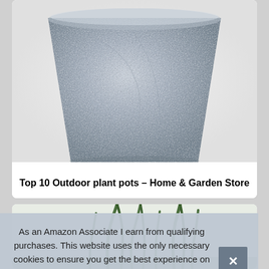[Figure (photo): A grey stone-textured cylindrical outdoor plant pot, viewed from slightly above, showing the top rim and the textured exterior surface.]
Top 10 Outdoor plant pots – Home & Garden Store
[Figure (photo): Partial view of green snake plant leaves emerging from a pot, partially obscured by cookie consent banner.]
As an Amazon Associate I earn from qualifying purchases. This website uses the only necessary cookies to ensure you get the best experience on our website. More information